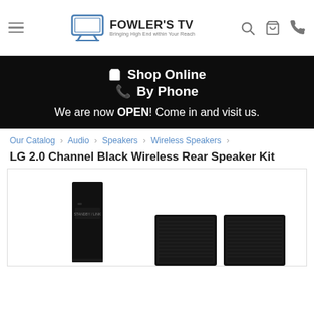FOWLER'S TV — Bringing High End within Your Reach
Shop Online
By Phone
We are now OPEN! Come in and visit us.
Our Catalog › Audio › Speakers › Wireless Speakers ›
LG 2.0 Channel Black Wireless Rear Speaker Kit
[Figure (photo): LG 2.0 Channel Black Wireless Rear Speaker Kit product photo showing a tall thin receiver unit on the left and two black wireless speakers on the right]